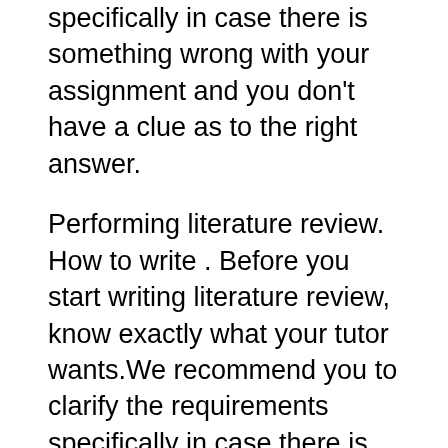specifically in case there is something wrong with your assignment and you don't have a clue as to the right answer.
Performing literature review. How to write . Before you start writing literature review, know exactly what your tutor wants.We recommend you to clarify the requirements specifically in case there is something wrong with your assignment and you don't have a clue as to the right answer. The audience can make an idea on what is the focus of the paper, for the literature review offers a hint in this direction. Readers can, therefore, predict which is the area of focus. Readers can, therefore, predict which is the area of focus.